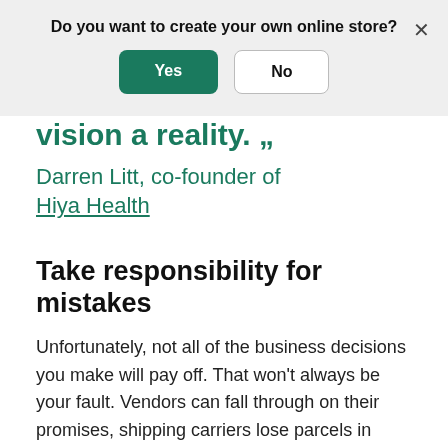[Figure (screenshot): Modal dialog with question 'Do you want to create your own online store?' and two buttons: 'Yes' (green) and 'No' (white/outlined), with an X close button on the right.]
vision a reality. „
Darren Litt, co-founder of Hiya Health
Take responsibility for mistakes
Unfortunately, not all of the business decisions you make will pay off. That won't always be your fault. Vendors can fall through on their promises, shipping carriers lose parcels in